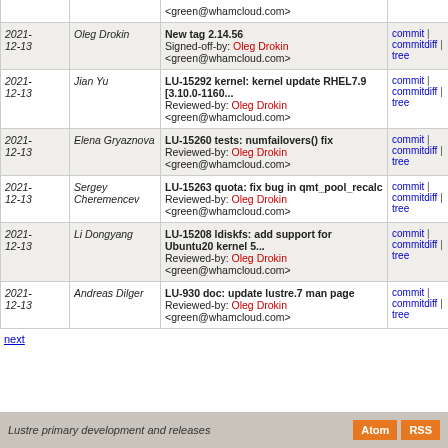| Date | Author | Message | Links |
| --- | --- | --- | --- |
| 2021-12-13 | Oleg Drokin | New tag 2.14.56
Signed-off-by: Oleg Drokin <green@whamcloud.com> | commit | commitdiff | tree |
| 2021-12-13 | Jian Yu | LU-15292 kernel: kernel update RHEL7.9 [3.10.0-1160...
Reviewed-by: Oleg Drokin <green@whamcloud.com> | commit | commitdiff | tree |
| 2021-12-13 | Elena Gryaznova | LU-15260 tests: numfailovers() fix
Reviewed-by: Oleg Drokin <green@whamcloud.com> | commit | commitdiff | tree |
| 2021-12-13 | Sergey Cheremencev | LU-15263 quota: fix bug in qmt_pool_recalc
Reviewed-by: Oleg Drokin <green@whamcloud.com> | commit | commitdiff | tree |
| 2021-12-13 | Li Dongyang | LU-15208 ldiskfs: add support for Ubuntu20 kernel 5...
Reviewed-by: Oleg Drokin <green@whamcloud.com> | commit | commitdiff | tree |
| 2021-12-13 | Andreas Dilger | LU-930 doc: update lustre.7 man page
Reviewed-by: Oleg Drokin <green@whamcloud.com> | commit | commitdiff | tree |
next
Lustre primary development and releases